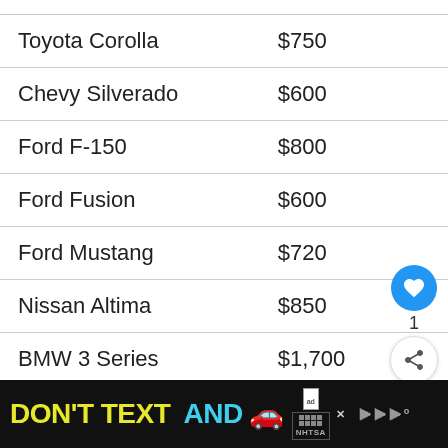| Vehicle | Cost |
| --- | --- |
| Toyota Corolla | $750 |
| Chevy Silverado | $600 |
| Ford F-150 | $800 |
| Ford Fusion | $600 |
| Ford Mustang | $720 |
| Nissan Altima | $850 |
| BMW 3 Series | $1,700 |
| Audi A4 | $1,… |
[Figure (other): NHTSA 'Don't Text and Drive' advertisement banner with yellow and cyan text, red car emoji, ad badge, and NHTSA logo]